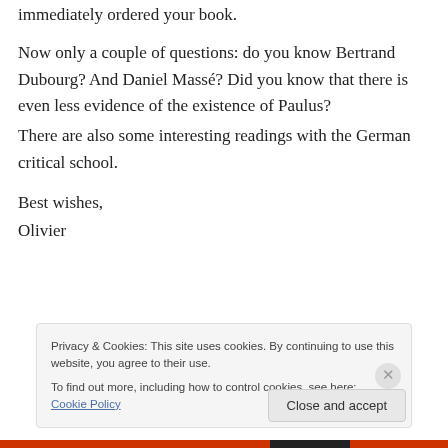immediately ordered your book.
Now only a couple of questions: do you know Bertrand Dubourg? And Daniel Massé? Did you know that there is even less evidence of the existence of Paulus?
There are also some interesting readings with the German critical school.
Best wishes,
Olivier
Privacy & Cookies: This site uses cookies. By continuing to use this website, you agree to their use.
To find out more, including how to control cookies, see here: Cookie Policy
Close and accept